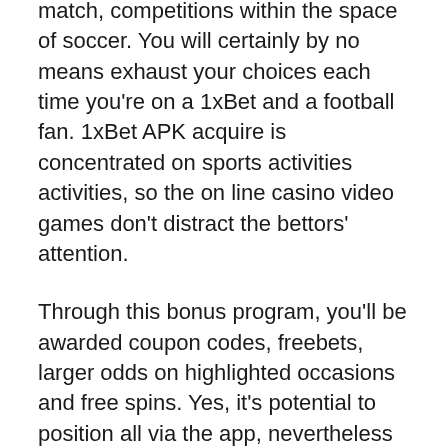match, competitions within the space of soccer. You will certainly by no means exhaust your choices each time you're on a 1xBet and a football fan. 1xBet APK acquire is concentrated on sports activities activities, so the on line casino video games don't distract the bettors' attention.
Through this bonus program, you'll be awarded coupon codes, freebets, larger odds on highlighted occasions and free spins. Yes, it's potential to position all via the app, nevertheless minors' entry to 1xBet suppliers is restricted. When carried out, your 1xbet Nigeria bonus is paid into punter's betting ledger directly.
The Black Friday bonus will allow you to take pleasure in as a lot as 100 percent of the earnings made these days. The registration course of 1xbet account on 1xbet software program shall be finalized in a few minutes. Regardless of a program of activities with the already all...